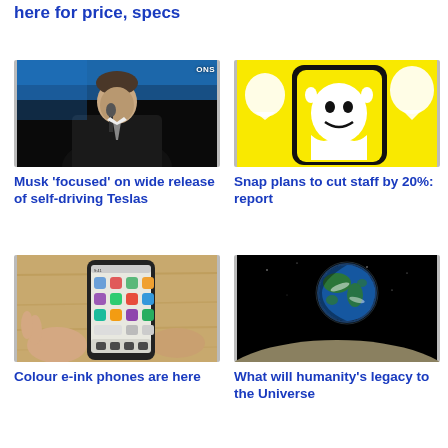here for price, specs
[Figure (photo): Elon Musk speaking at an event, holding a microphone, blue background, wearing a dark suit]
Musk 'focused' on wide release of self-driving Teslas
[Figure (photo): Snapchat logo on a phone screen against a yellow background with ghost mascot]
Snap plans to cut staff by 20%: report
[Figure (photo): Hands holding a smartphone showing a colour e-ink display with app icons, on a wooden surface]
Colour e-ink phones are here
[Figure (photo): Earth rising over the lunar surface against a black background, as seen from the Moon]
What will humanity's legacy to the Universe